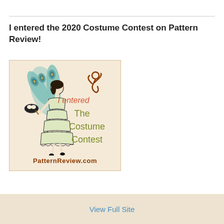I entered the 2020 Costume Contest on Pattern Review!
[Figure (illustration): PatternReview.com Costume Contest badge showing a woman in a layered ruffle dress with peacock feather wings holding a masquerade mask, with text 'I entered The Costume Contest' and 'PatternReview.com' at the bottom, and a brown decorative figure at top right.]
View Full Site